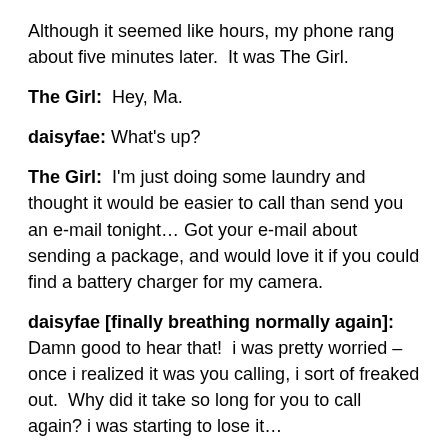Although it seemed like hours, my phone rang about five minutes later.  It was The Girl.
The Girl:  Hey, Ma.
daisyfae: What's up?
The Girl:  I'm just doing some laundry and thought it would be easier to call than send you an e-mail tonight… Got your e-mail about sending a package, and would love it if you could find a battery charger for my camera.
daisyfae [finally breathing normally again]: Damn good to hear that!  i was pretty worried – once i realized it was you calling, i sort of freaked out.  Why did it take so long for you to call again? i was starting to lose it…
The Girl:  I got talking with this really neat French student